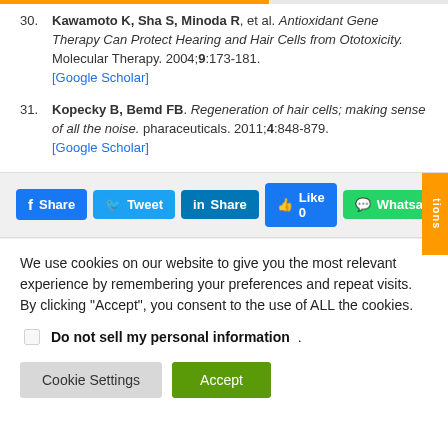30. Kawamoto K, Sha S, Minoda R, et al. Antioxidant Gene Therapy Can Protect Hearing and Hair Cells from Ototoxicity. Molecular Therapy. 2004;9:173-181. [Google Scholar]
31. Kopecky B, Bemd FB. Regeneration of hair cells; making sense of all the noise. pharaceuticals. 2011;4:848-879. [Google Scholar]
[Figure (screenshot): Social sharing buttons: Facebook Share, Twitter Tweet, LinkedIn Share, Like 0, WhatsApp. Orange side tab partially visible.]
We use cookies on our website to give you the most relevant experience by remembering your preferences and repeat visits. By clicking "Accept", you consent to the use of ALL the cookies.
Do not sell my personal information